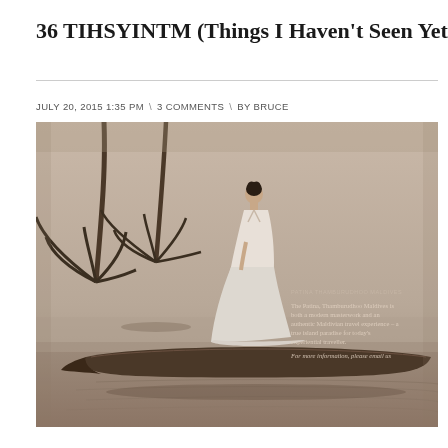36 TIHSYINTM (Things I Haven't Seen Yet in the Maldiv
JULY 20, 2015 1:35 PM  \  3 COMMENTS  \  BY BRUCE
[Figure (photo): Sepia-toned photograph of a woman in a flowing white dress standing on a traditional Maldivian boat (dhoni) on calm water with palm trees in the background. Text overlay on right side reads: 'The Patina, Thamburudhoo Maldives is both a modern masterwork and an authentic Maldivian travel experience – a true island paradise for today's experiential traveller. For more information, please email us']